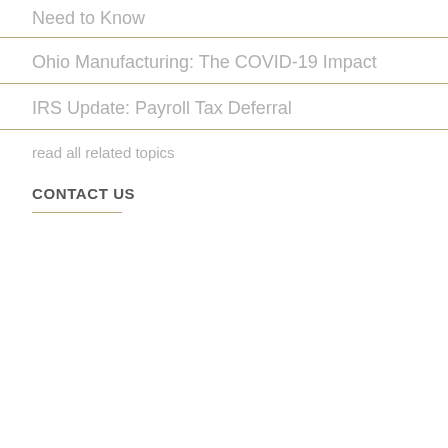Need to Know
Ohio Manufacturing: The COVID-19 Impact
IRS Update: Payroll Tax Deferral
read all related topics
CONTACT US